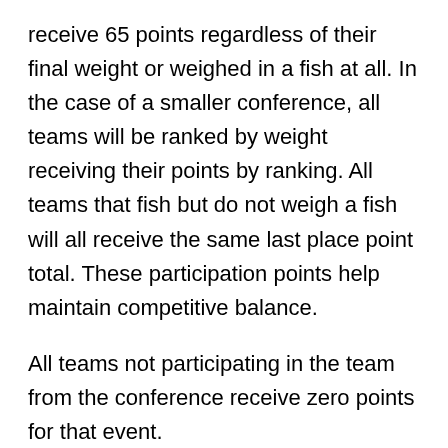receive 65 points regardless of their final weight or weighed in a fish at all. In the case of a smaller conference, all teams will be ranked by weight receiving their points by ranking. All teams that fish but do not weigh a fish will all receive the same last place point total. These participation points help maintain competitive balance.
All teams not participating in the team from the conference receive zero points for that event.
Any “out of conference” teams participating receive zero points and are also skipped when points are awarded towards conference standings. Example: An “out of conference” team places second in the tournament, the third place team would receive 99